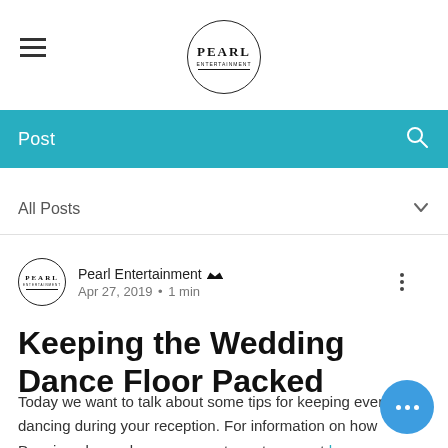PEARL Entertainment — site header with hamburger menu and logo
Post
All Posts
Pearl Entertainment  Apr 27, 2019 • 1 min
Keeping the Wedding Dance Floor Packed
Today we want to talk about some tips for keeping everyone dancing during your reception. For information on how Dancing also makes your smarter out our post here